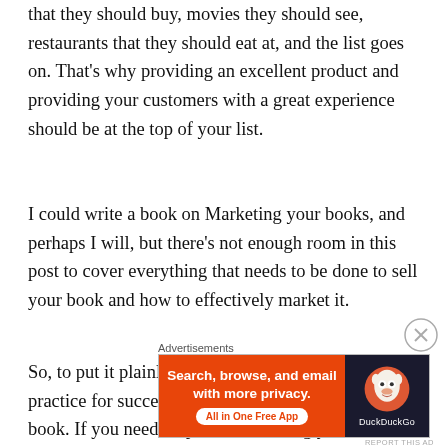that they should buy, movies they should see, restaurants that they should eat at, and the list goes on. That's why providing an excellent product and providing your customers with a great experience should be at the top of your list.
I could write a book on Marketing your books, and perhaps I will, but there's not enough room in this post to cover everything that needs to be done to sell your book and how to effectively market it.
So, to put it plainly, Marketing is an essential practice for success in your writing and selling your book. If you need help with marketing your book or even figuring out where to start, we can help! Send us an email to
Advertisements
[Figure (other): DuckDuckGo advertisement banner: orange left panel with text 'Search, browse, and email with more privacy. All in One Free App' and dark right panel with DuckDuckGo logo and name.]